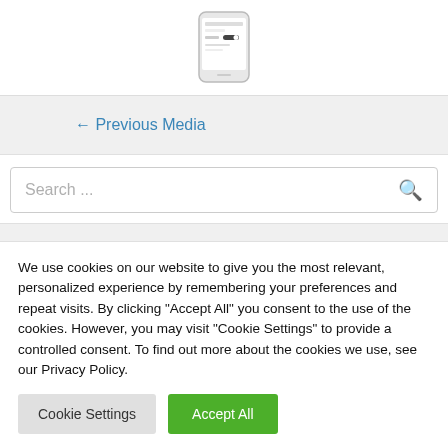[Figure (screenshot): Partial view of a smartphone showing a settings screen with a toggle switch]
← Previous Media
[Figure (screenshot): Search input box with placeholder text 'Search ...' and a search icon on the right]
We use cookies on our website to give you the most relevant, personalized experience by remembering your preferences and repeat visits. By clicking "Accept All" you consent to the use of the cookies. However, you may visit "Cookie Settings" to provide a controlled consent. To find out more about the cookies we use, see our Privacy Policy.
Cookie Settings
Accept All